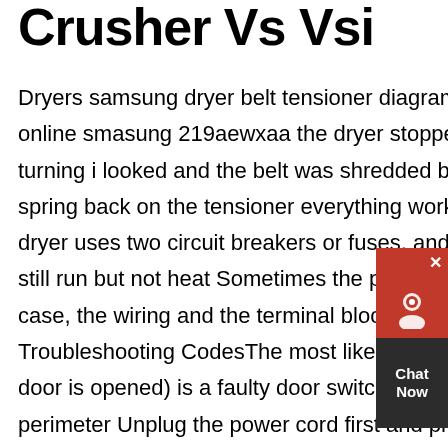Crusher Vs Vsi
Dryers samsung dryer belt tensioner diagramhenan samsung dryer not heating up shop your way online smasung 219aewxaa the dryer stopped heating and then shortly after the drum stopped turning i looked and the belt was shredded but still intact i replaced the belt today and put the spring back on the tensioner everything works properly but the dryer still does notAn electric dryer uses two circuit breakers or fuses, and if only one of two is tripped or blown, the dryer might still run but not heat Sometimes the power cord disconnects or burns at the dryer, if this is the case, the wiring and the terminal block must be repaired or replaced 2 HeatingLg Dryer Troubleshooting CodesThe most likely reason for the dryer not turning off (I'm assuming when the door is opened) is a faulty door switch Look for a retractabletype switch around the doors perimeter Unplug the power cord first and pry the switch out Cut each wire
[Figure (other): Chat Now widget overlay with red background, support icon, and dark label area]